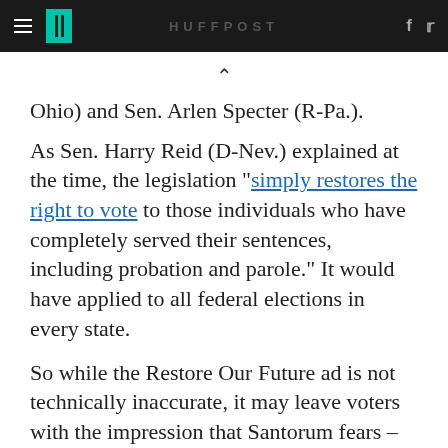HuffPost
Ohio) and Sen. Arlen Specter (R-Pa.).
As Sen. Harry Reid (D-Nev.) explained at the time, the legislation "simply restores the right to vote to those individuals who have completely served their sentences, including probation and parole." It would have applied to all federal elections in every state.
So while the Restore Our Future ad is not technically inaccurate, it may leave voters with the impression that Santorum fears -- that felons would be able to vote from jail -- which is likely